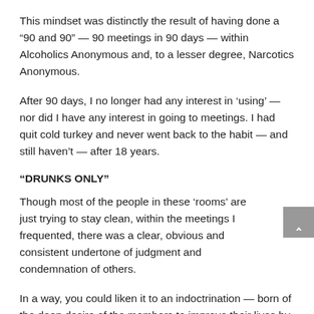This mindset was distinctly the result of having done a “90 and 90” — 90 meetings in 90 days — within Alcoholics Anonymous and, to a lesser degree, Narcotics Anonymous.
After 90 days, I no longer had any interest in ‘using’ — nor did I have any interest in going to meetings. I had quit cold turkey and never went back to the habit — and still haven’t — after 18 years.
“DRUNKS ONLY”
Though most of the people in these ‘rooms’ are just trying to stay clean, within the meetings I frequented, there was a clear, obvious and consistent undertone of judgment and condemnation of others.
In a way, you could liken it to an indoctrination — born of the deep desire of the members to improve their lives by fighting against extremely powerful desires to ‘use’ that they still had within themselves.